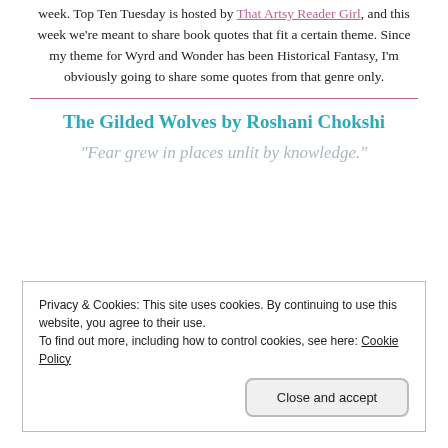week. Top Ten Tuesday is hosted by That Artsy Reader Girl, and this week we're meant to share book quotes that fit a certain theme. Since my theme for Wyrd and Wonder has been Historical Fantasy, I'm obviously going to share some quotes from that genre only.
The Gilded Wolves by Roshani Chokshi
“Fear grew in places unlit by knowledge.”
Privacy & Cookies: This site uses cookies. By continuing to use this website, you agree to their use.
To find out more, including how to control cookies, see here: Cookie Policy
Close and accept